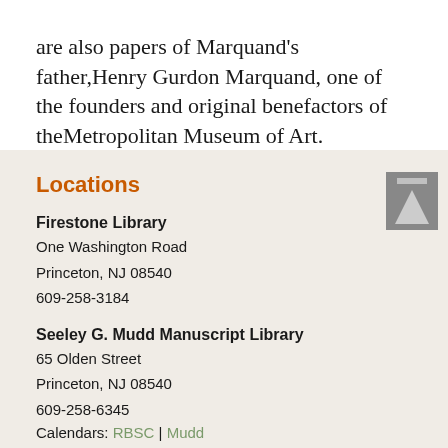are also papers of Marquand's father, Henry Gurdon Marquand, one of the founders and original benefactors of the Metropolitan Museum of Art.
Locations
Firestone Library
One Washington Road
Princeton, NJ 08540
609-258-3184
Seeley G. Mudd Manuscript Library
65 Olden Street
Princeton, NJ 08540
609-258-6345
Calendars: RBSC | Mudd